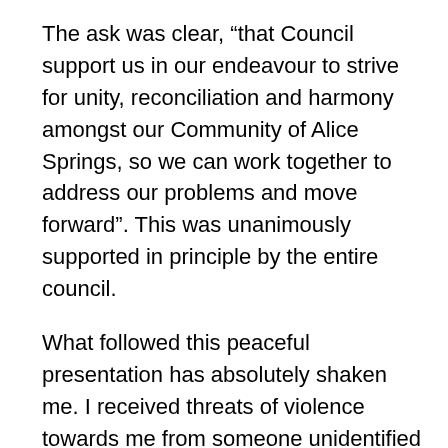The ask was clear, “that Council support us in our endeavour to strive for unity, reconciliation and harmony amongst our Community of Alice Springs, so we can work together to address our problems and move forward”. This was unanimously supported in principle by the entire council.
What followed this peaceful presentation has absolutely shaken me. I received threats of violence towards me from someone unidentified at this time. This has left me vulnerable and exposed with genuine fear for my safety. Police were called to the Council chambers where there remained a group of people on the lawns of Council. It concerns me that other Councillors have been exposed to similar threat.
Let me be clear any threat or act of violence against women is completely unacceptable and should never occur. I will do